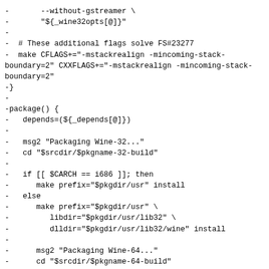-       --without-gstreamer \
-       "${_wine32opts[@]}"
-
-  # These additional flags solve FS#23277
-  make CFLAGS+="-mstackrealign -mincoming-stack-boundary=2" CXXFLAGS+="-mstackrealign -mincoming-stack-boundary=2"
-}
-
-package() {
-   depends=(${_depends[@]})
-
-   msg2 "Packaging Wine-32..."
-   cd "$srcdir/$pkgname-32-build"
-
-   if [[ $CARCH == i686 ]]; then
-      make prefix="$pkgdir/usr" install
-   else
-      make prefix="$pkgdir/usr" \
-         libdir="$pkgdir/usr/lib32" \
-         dlldir="$pkgdir/usr/lib32/wine" install
-
-      msg2 "Packaging Wine-64..."
-      cd "$srcdir/$pkgname-64-build"
-      make prefix="$pkgdir/usr" \
-         libdir="$pkgdir/usr/lib" \
-         dlldir="$pkgdir/usr/lib/wine" install
-   fi
-
-   # Font aliasing settings for Win32 applications